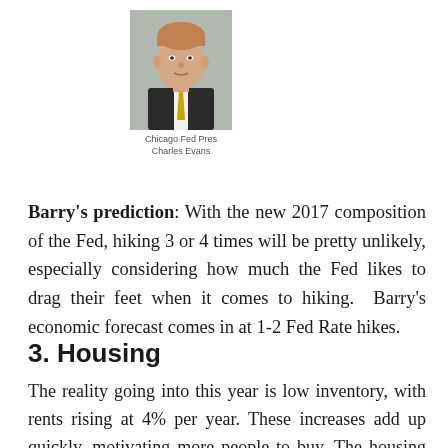[Figure (photo): Portrait photo of Chicago Fed Pres Charles Evans, a man in a suit with a yellow tie]
Chicago Fed Pres
Charles Evans
Barry's prediction: With the new 2017 composition of the Fed, hiking 3 or 4 times will be pretty unlikely, especially considering how much the Fed likes to drag their feet when it comes to hiking. Barry's economic forecast comes in at 1-2 Fed Rate hikes.
3. Housing
The reality going into this year is low inventory, with rents rising at 4% per year. These increases add up quickly, motivating more people to buy. The housing market won't be derailed by these